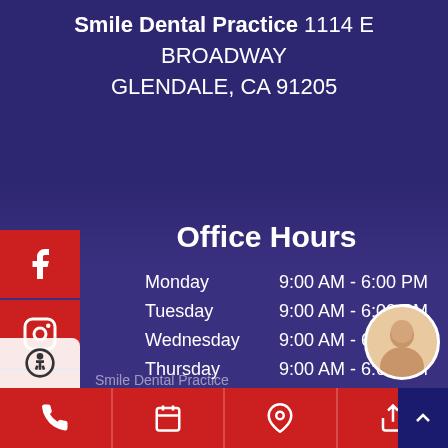Smile Dental Practice 1114 E BROADWAY GLENDALE, CA 91205
Office Hours
| Day | Hours |
| --- | --- |
| Monday | 9:00 AM - 6:00 PM |
| Tuesday | 9:00 AM - 6:00 PM |
| Wednesday | 9:00 AM - 6:00 PM |
| Thursday | 9:00 AM - 6:00 PM |
| Friday | 9:00 AM - 6:00 PM |
| Saturday | 9:00 AM - 6:00 PM |
| Sunday | Closed |
[Figure (infographic): Social media icons (Facebook, Instagram, Yelp, Twitter) as red square buttons on left side, and bottom action bar with phone, calendar, location, share icons in red]
Smile Dental Practice